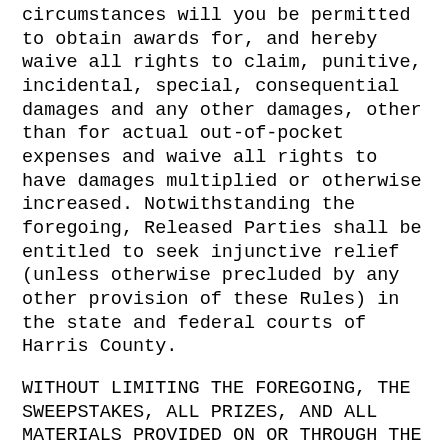circumstances will you be permitted to obtain awards for, and hereby waive all rights to claim, punitive, incidental, special, consequential damages and any other damages, other than for actual out-of-pocket expenses and waive all rights to have damages multiplied or otherwise increased. Notwithstanding the foregoing, Released Parties shall be entitled to seek injunctive relief (unless otherwise precluded by any other provision of these Rules) in the state and federal courts of Harris County.
WITHOUT LIMITING THE FOREGOING, THE SWEEPSTAKES, ALL PRIZES, AND ALL MATERIALS PROVIDED ON OR THROUGH THE SWEEPSTAKES SITE ARE PROVIDED "AS IS" WITHOUT WARRANTY OF ANY KIND, EITHER EXPRESS OR IMPLIED, INCLUDING, WITHOUT LIMITATION, THE IMPLIED WARRANTIES OF MERCHANTABILITY, FITNESS FOR A PARTICULAR PURPOSE, AND NON-INFRINGEMENT. SOME JURISDICTIONS MAY NOT ALLOW LIMITATIONS OR EXCLUSION OF LIABILITY FOR